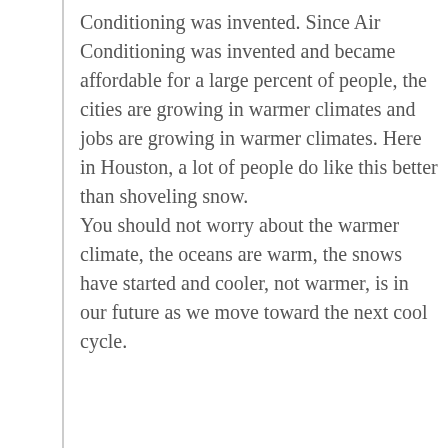Conditioning was invented. Since Air Conditioning was invented and became affordable for a large percent of people, the cities are growing in warmer climates and jobs are growing in warmer climates. Here in Houston, a lot of people do like this better than shoveling snow. You should not worry about the warmer climate, the oceans are warm, the snows have started and cooler, not warmer, is in our future as we move toward the next cool cycle.